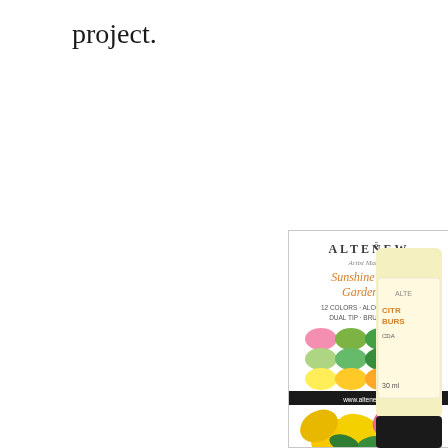project.
[Figure (photo): Altenew Artist Markers Sunshine Valley Garden Set product box showing 12 alcohol-based dual tip markers in various colors arranged in a grid of color swatches, with floral artwork at the bottom. Text reads: ALTENEW, Artist Markers, Sunshine Valley Garden Set, 12 COLORS · ALCOHOL BASED DUAL TIP · BRUSH & FINE, www.altenew.com]
[Figure (photo): Partial view of a pink/red Altenew ink bottle with label reading PINK DIAMOND, 30ml, partially cropped on the right side of the page]
[Figure (photo): Partial view of a yellow Altenew ink bottle with label reading CITRUS BURST, 30ml, partially cropped on the right side of the page at the bottom]